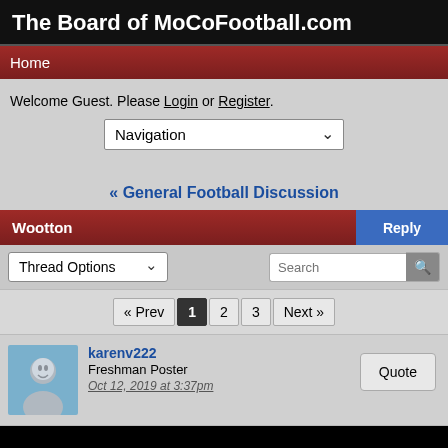The Board of MoCoFootball.com
Home
Welcome Guest. Please Login or Register.
Navigation
« General Football Discussion
Wootton | Reply
Thread Options | Search
« Prev 1 2 3 Next »
karenv222
Freshman Poster
Oct 12, 2019 at 3:37pm